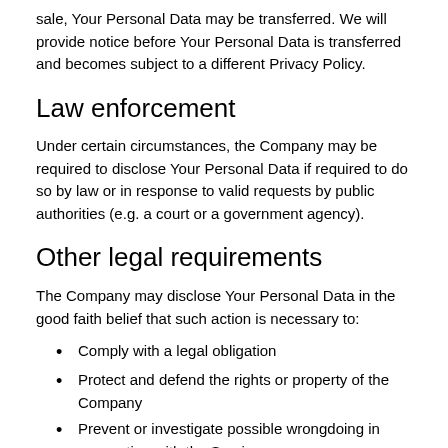sale, Your Personal Data may be transferred. We will provide notice before Your Personal Data is transferred and becomes subject to a different Privacy Policy.
Law enforcement
Under certain circumstances, the Company may be required to disclose Your Personal Data if required to do so by law or in response to valid requests by public authorities (e.g. a court or a government agency).
Other legal requirements
The Company may disclose Your Personal Data in the good faith belief that such action is necessary to:
Comply with a legal obligation
Protect and defend the rights or property of the Company
Prevent or investigate possible wrongdoing in connection with the Service